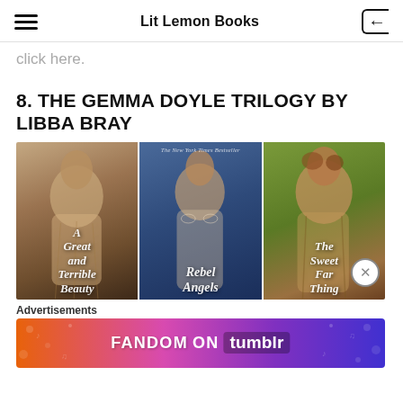Lit Lemon Books
click here.
8. THE GEMMA DOYLE TRILOGY BY LIBBA BRAY
[Figure (photo): Three book covers side by side: A Great and Terrible Beauty, Rebel Angels, and The Sweet Far Thing, all by Libba Bray. Each cover shows a young woman from behind with period clothing.]
Advertisements
[Figure (other): Fandom on Tumblr advertisement banner with colorful gradient background in orange, purple, and blue.]